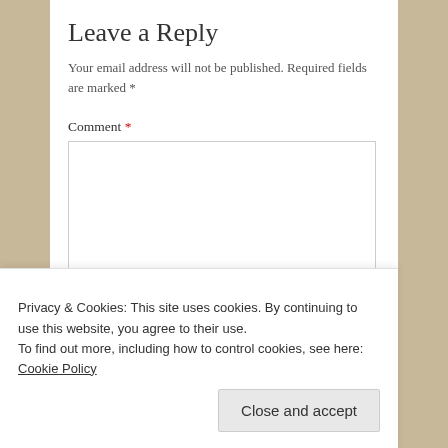Leave a Reply
Your email address will not be published. Required fields are marked *
Comment *
[Figure (screenshot): Empty comment textarea input field with resize handle]
Privacy & Cookies: This site uses cookies. By continuing to use this website, you agree to their use.
To find out more, including how to control cookies, see here: Cookie Policy
Close and accept